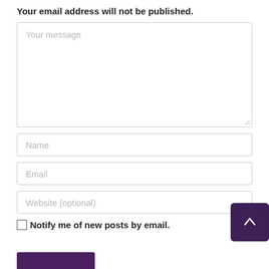Your email address will not be published.
Your message
Name
Email
Website (optional)
Notify me of new posts by email.